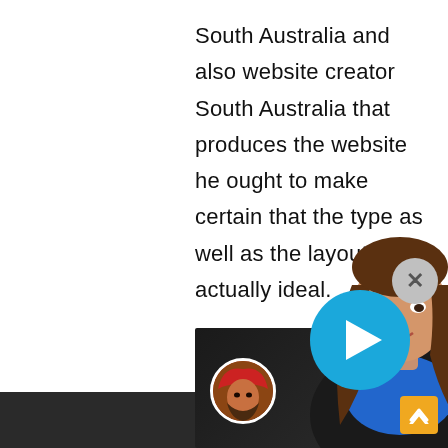South Australia and also website creator South Australia that produces the website he ought to make certain that the type as well as the layout actually ideal.
[Figure (screenshot): Video player screenshot showing a woman with long brown hair in a blue shirt and black blazer, overlaid with a large blue circular play button. A small avatar of a man in a red turban appears in the bottom left of the video. A gray close (X) button appears to the upper right, and a golden scroll-up button is in the lower right corner. The bottom portion shows a dark background video interface.]